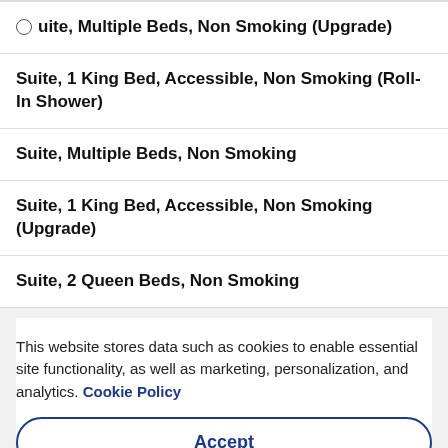Suite, Multiple Beds, Non Smoking (Upgrade)
Suite, 1 King Bed, Accessible, Non Smoking (Roll-In Shower)
Suite, Multiple Beds, Non Smoking
Suite, 1 King Bed, Accessible, Non Smoking (Upgrade)
Suite, 2 Queen Beds, Non Smoking
This website stores data such as cookies to enable essential site functionality, as well as marketing, personalization, and analytics. Cookie Policy
Accept
Deny